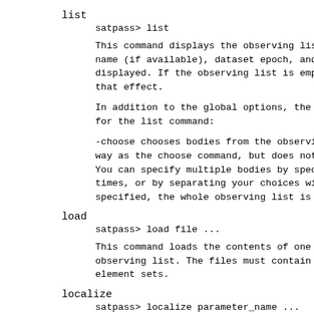list
satpass> list
This command displays the observing list, name (if available), dataset epoch, and displayed. If the observing list is empty, that effect.
In addition to the global options, the for the list command:
-choose chooses bodies from the observing way as the choose command, but does not You can specify multiple bodies by specifying times, or by separating your choices with specified, the whole observing list is
load
satpass> load file ...
This command loads the contents of one observing list. The files must contain element sets.
localize
satpass> localize parameter_name ...
This command changes the value of...